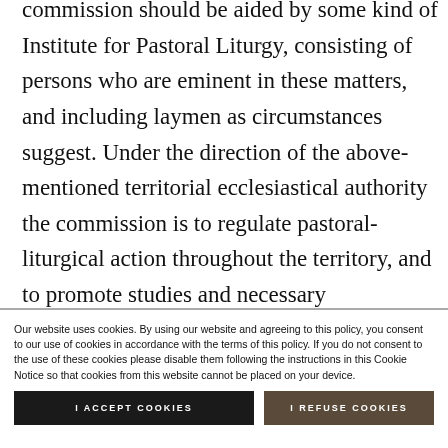commission should be aided by some kind of Institute for Pastoral Liturgy, consisting of persons who are eminent in these matters, and including laymen as circumstances suggest. Under the direction of the above-mentioned territorial ecclesiastical authority the commission is to regulate pastoral-liturgical action throughout the territory, and to promote studies and necessary experiments whenever there is
Our website uses cookies. By using our website and agreeing to this policy, you consent to our use of cookies in accordance with the terms of this policy. If you do not consent to the use of these cookies please disable them following the instructions in this Cookie Notice so that cookies from this website cannot be placed on your device.